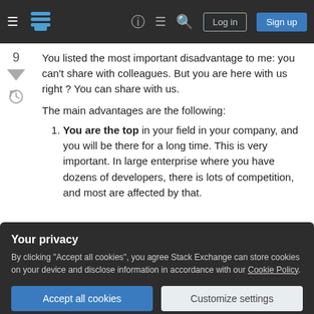Stack Exchange navigation bar with Log in and Sign up buttons
You listed the most important disadvantage to me: you can't share with colleagues. But you are here with us right ? You can share with us.
The main advantages are the following:
You are the top in your field in your company, and you will be there for a long time. This is very important. In large enterprise where you have dozens of developers, there is lots of competition, and most are affected by that.
Your privacy
By clicking "Accept all cookies", you agree Stack Exchange can store cookies on your device and disclose information in accordance with our Cookie Policy.
Accept all cookies
Customize settings